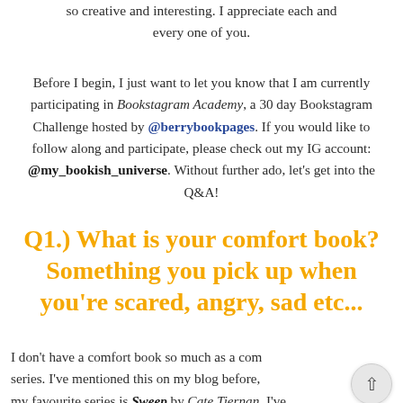so creative and interesting. I appreciate each and every one of you.
Before I begin, I just want to let you know that I am currently participating in Bookstagram Academy, a 30 day Bookstagram Challenge hosted by @berrybookpages. If you would like to follow along and participate, please check out my IG account: @my_bookish_universe. Without further ado, let's get into the Q&A!
Q1.) What is your comfort book? Something you pick up when you're scared, angry, sad etc...
I don't have a comfort book so much as a comfort series. I've mentioned this on my blog before, my favourite series is Sweep by Cate Tiernan. I've